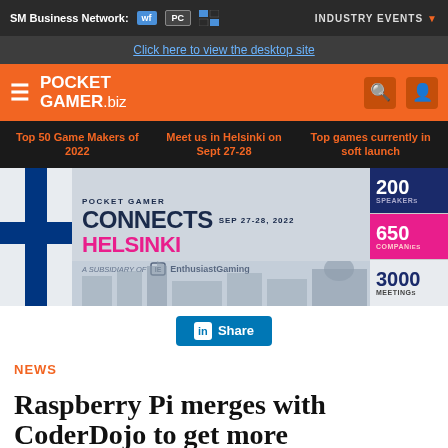SM Business Network:   INDUSTRY EVENTS
Click here to view the desktop site
[Figure (logo): PocketGamer.biz orange navigation bar with hamburger menu, logo, search and user icons]
Top 50 Game Makers of 2022   Meet us in Helsinki on Sept 27-28   Top games currently in soft launch
[Figure (infographic): Pocket Gamer Connects Helsinki banner ad, SEP 27-28, 2022, A Subsidiary of EnthusiastGaming, showing 200 SPEAKERS, 650 COMPANIES, 3000 MEETINGS]
Share
NEWS
Raspberry Pi merges with CoderDojo to get more